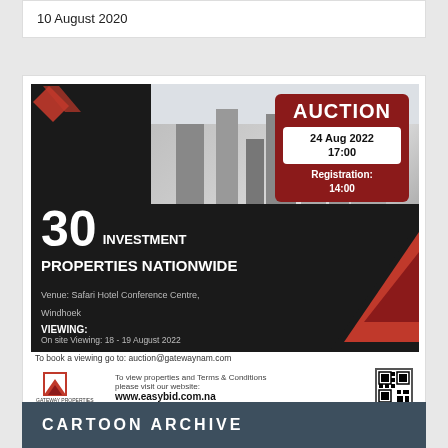10 August 2020
[Figure (photo): Advertisement for Gateway Properties and Auctioneers auction. Shows modern white buildings photo, with a black band overlay. Large red box with AUCTION header, date 24 Aug 2022 17:00, Registration: 14:00. Text: 30 INVESTMENT PROPERTIES NATIONWIDE. Venue: Safari Hotel Conference Centre, Windhoek. VIEWING: On site Viewing: 18 - 19 August 2022. To book a viewing go to: auction@gatewaynam.com. Footer: Gateway Properties and Auctioneers (Pty) Ltd logo, www.easybid.com.na, QR code.]
CARTOON ARCHIVE